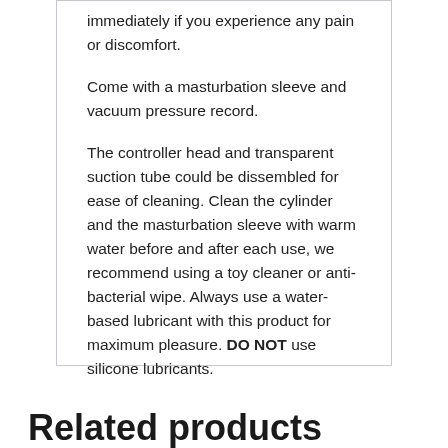immediately if you experience any pain or discomfort.
Come with a masturbation sleeve and vacuum pressure record.
The controller head and transparent suction tube could be dissembled for ease of cleaning. Clean the cylinder and the masturbation sleeve with warm water before and after each use, we recommend using a toy cleaner or anti-bacterial wipe. Always use a water-based lubricant with this product for maximum pleasure. DO NOT use silicone lubricants.
Related products